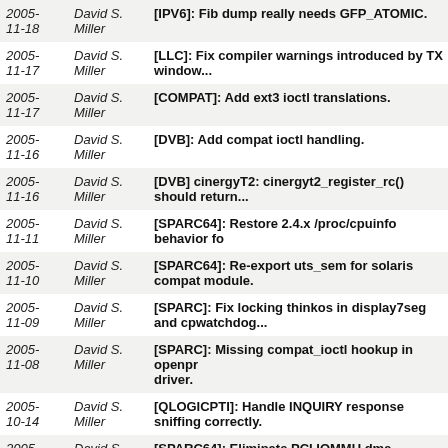| Date | Author | Commit message |
| --- | --- | --- |
| 2005-11-18 | David S. Miller | [IPV6]: Fib dump really needs GFP_ATOMIC. |
| 2005-11-17 | David S. Miller | [LLC]: Fix compiler warnings introduced by TX window... |
| 2005-11-17 | David S. Miller | [COMPAT]: Add ext3 ioctl translations. |
| 2005-11-16 | David S. Miller | [DVB]: Add compat ioctl handling. |
| 2005-11-16 | David S. Miller | [DVB] cinergyT2: cinergyt2_register_rc() should return... |
| 2005-11-11 | David S. Miller | [SPARC64]: Restore 2.4.x /proc/cpuinfo behavior fo... |
| 2005-11-10 | David S. Miller | [SPARC64]: Re-export uts_sem for solaris compat module. |
| 2005-11-09 | David S. Miller | [SPARC]: Fix locking thinkos in display7seg and cpwatchdog... |
| 2005-11-08 | David S. Miller | [SPARC]: Missing compat_ioctl hookup in openpro... driver. |
| 2005-10-14 | David S. Miller | [QLOGICPTI]: Handle INQUIRY response sniffing correctly. |
| 2005-10-14 | David S. Miller | [SPARC64]: Eliminate PCI IOMMU dma mapping si... limit. |
| 2005-10-14 | David S. Miller | [SPARC64]: Consolidate common PCI IOMMU init code. |
| 2005-10-11 | David S. Miller | [SPARC64]: Fix net booting on Ultra5 |
| 2005- | David S. | [SPARC32]: Revert IOMAP change |